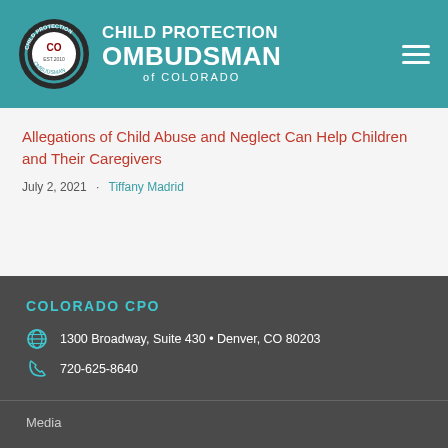[Figure (logo): Child Protection Ombudsman of Colorado logo with circular badge and organization name in white on teal header]
Allegations of Child Abuse and Neglect Can Help Children and Their Caregivers
July 2, 2021 · Tiffany Madrid
COLORADO CPO
1300 Broadway, Suite 430 • Denver, CO 80203
720-625-8640
Media